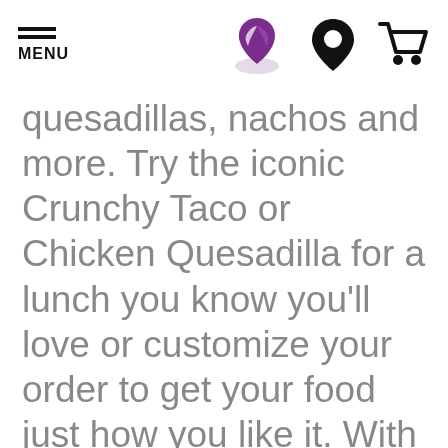MENU
quesadillas, nachos and more. Try the iconic Crunchy Taco or Chicken Quesadilla for a lunch you know you'll love or customize your order to get your food just how you like it. With our completely customizable food menu,